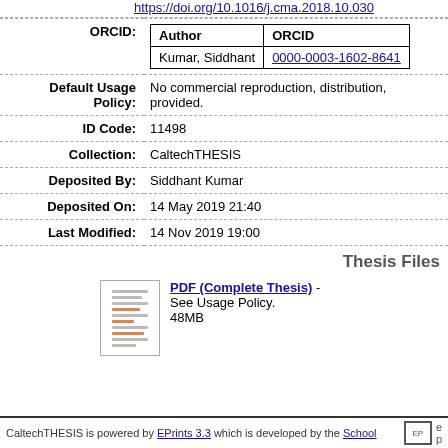https://doi.org/10.1016/j.cma.2018.10.030
| Author | ORCID |
| --- | --- |
| Kumar, Siddhant | 0000-0003-1602-8641 |
Default Usage Policy: No commercial reproduction, distribution, provided.
ID Code: 11498
Collection: CaltechTHESIS
Deposited By: Siddhant Kumar
Deposited On: 14 May 2019 21:40
Last Modified: 14 Nov 2019 19:00
Thesis Files
[Figure (other): Thumbnail of PDF document]
PDF (Complete Thesis) - See Usage Policy. 48MB
CaltechTHESIS is powered by EPrints 3.3 which is developed by the School